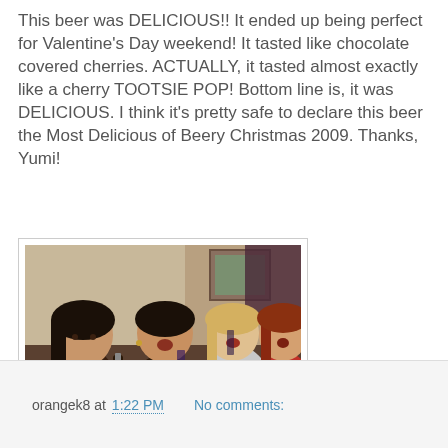This beer was DELICIOUS!! It ended up being perfect for Valentine's Day weekend! It tasted like chocolate covered cherries. ACTUALLY, it tasted almost exactly like a cherry TOOTSIE POP! Bottom line is, it was DELICIOUS. I think it's pretty safe to declare this beer the Most Delicious of Beery Christmas 2009. Thanks, Yumi!
[Figure (photo): Three women smiling and drinking dark beer from bottles and glasses, posed together indoors]
orangek8 at 1:22 PM    No comments: